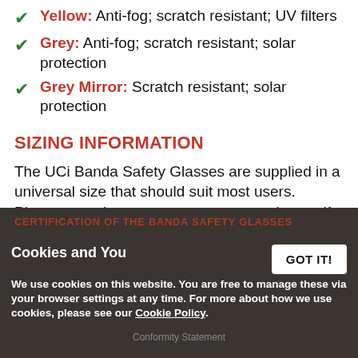Yellow: Anti-fog; scratch resistant; UV filters
Grey: Anti-fog; scratch resistant; solar protection
Grey Mirror: Scratch resistant; solar protection
SIZING INFORMATION
The UCi Banda Safety Glasses are supplied in a universal size that should suit most users. Please note that you may return your glasses if you find them unsuitable, as long as they are in a resellable condition with all original documentation.
CERTIFICATION OF THE BANDA SAFETY GLASSES
Cookies and You
We use cookies on this website. You are free to manage these via your browser settings at any time. For more about how we use cookies, please see our Cookie Policy.
Conformity Statement